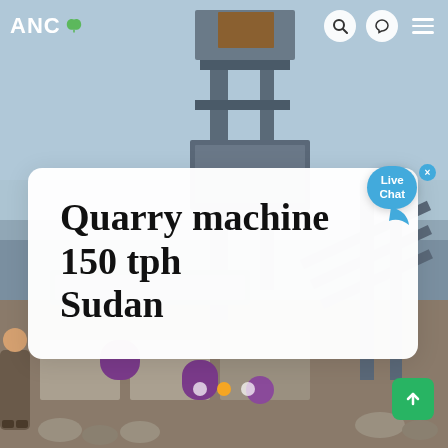[Figure (photo): Industrial quarry machine / stone crushing plant with steel frame structure, conveyor belts with purple piping, hazy sky background, outdoor setting in Sudan]
ANC
Quarry machine 150 tph Sudan
Live Chat